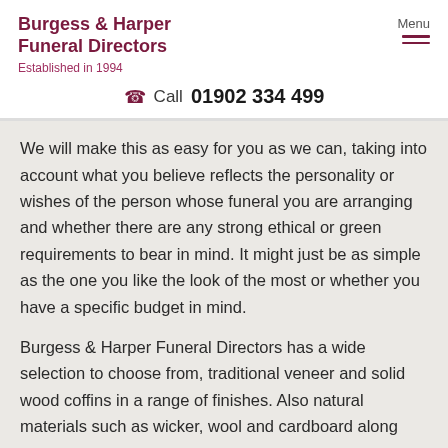Burgess & Harper Funeral Directors
Established in 1994
Menu
Call 01902 334 499
We will make this as easy for you as we can, taking into account what you believe reflects the personality or wishes of the person whose funeral you are arranging and whether there are any strong ethical or green requirements to bear in mind. It might just be as simple as the one you like the look of the most or whether you have a specific budget in mind.
Burgess & Harper Funeral Directors has a wide selection to choose from, traditional veneer and solid wood coffins in a range of finishes. Also natural materials such as wicker, wool and cardboard along